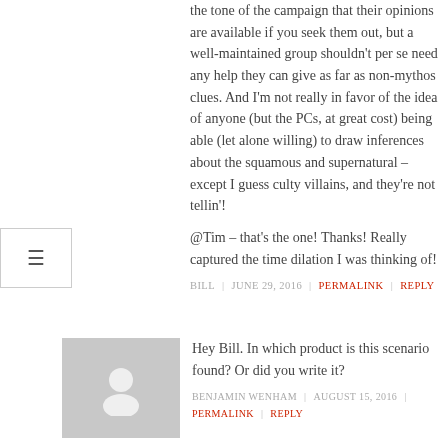the tone of the campaign that their opinions are available if you seek them out, but a well-maintained group shouldn't per se need any help they can give as far as non-mythos clues. And I'm not really in favor of the idea of anyone (but the PCs, at great cost) being able (let alone willing) to draw inferences about the squamous and supernatural – except I guess culty villains, and they're not tellin'!
@Tim – that's the one! Thanks! Really captured the time dilation I was thinking of!
BILL | JUNE 29, 2016 | PERMALINK | REPLY
Hey Bill. In which product is this scenario found? Or did you write it?
BENJAMIN WENHAM | AUGUST 15, 2016 | PERMALINK | REPLY